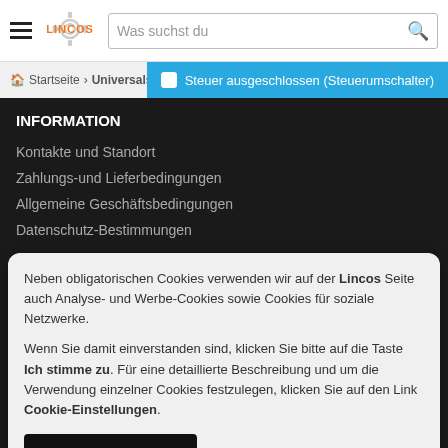LINCOS — Was suchst du [search bar]
Startseite › Universalsc… | Steuer ausgeschlossen (Steuerumschalter)
INFORMATION
Kontakte und Standort
Zahlungs-und Lieferbedingungen
Allgemeine Geschäftsbedingungen
Datenschutz-Bestimmungen
Neben obligatorischen Cookies verwenden wir auf der Lincos Seite auch Analyse- und Werbe-Cookies sowie Cookies für soziale Netzwerke.
Wenn Sie damit einverstanden sind, klicken Sie bitte auf die Taste Ich stimme zu. Für eine detaillierte Beschreibung und um die Verwendung einzelner Cookies festzulegen, klicken Sie auf den Link Cookie-Einstellungen.
ICH STIMME ZU
COOKIE-EINSTELLUNGEN